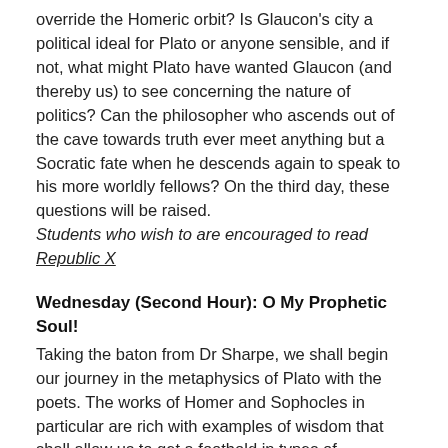override the Homeric orbit? Is Glaucon's city a political ideal for Plato or anyone sensible, and if not, what might Plato have wanted Glaucon (and thereby us) to see concerning the nature of politics? Can the philosopher who ascends out of the cave towards truth ever meet anything but a Socratic fate when he descends again to speak to his more worldly fellows? On the third day, these questions will be raised. Students who wish to are encouraged to read Republic X
Wednesday (Second Hour): O My Prophetic Soul!
Taking the baton from Dr Sharpe, we shall begin our journey in the metaphysics of Plato with the poets. The works of Homer and Sophocles in particular are rich with examples of wisdom that shall allow us to get a foothold in types of knowledge that have dropped off the radar of modern science. We shall discuss in a preliminary way the relation of such